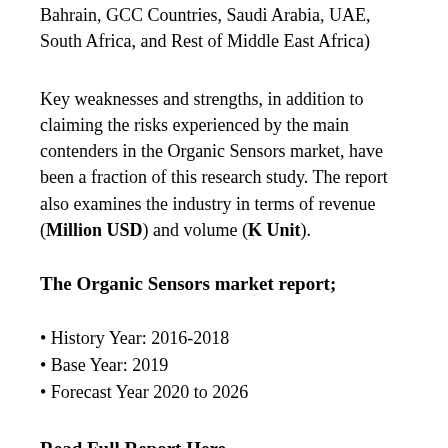Bahrain, GCC Countries, Saudi Arabia, UAE, South Africa, and Rest of Middle East Africa)
Key weaknesses and strengths, in addition to claiming the risks experienced by the main contenders in the Organic Sensors market, have been a fraction of this research study. The report also examines the industry in terms of revenue (Million USD) and volume (K Unit).
The Organic Sensors market report;
History Year: 2016-2018
Base Year: 2019
Forecast Year 2020 to 2026
Read Full Report Here
@ https://www.syndicatemarketresearch.com/market-analysis/organic-sensors-market.html